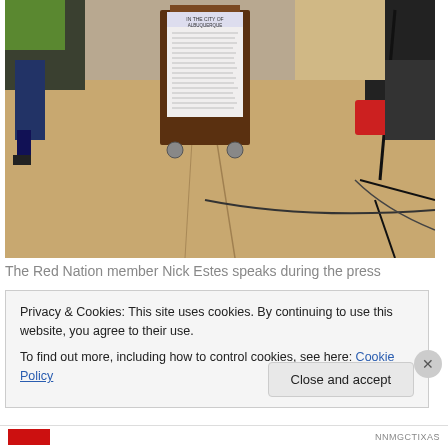[Figure (photo): Indoor photograph showing people at what appears to be a press event. A rolling lectern/podium with a paper posted on it is visible in the center. People's legs and feet are visible. Music stands and a microphone stand are on the right. The floor is brownish-tan concrete or stone.]
The Red Nation member Nick Estes speaks during the press
Privacy & Cookies: This site uses cookies. By continuing to use this website, you agree to their use.
To find out more, including how to control cookies, see here: Cookie Policy
Close and accept